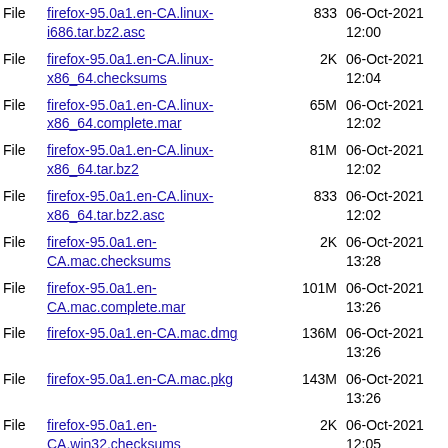| Type | Name | Size | Date |
| --- | --- | --- | --- |
| File | firefox-95.0a1.en-CA.linux-i686.tar.bz2.asc | 833 | 06-Oct-2021 12:00 |
| File | firefox-95.0a1.en-CA.linux-x86_64.checksums | 2K | 06-Oct-2021 12:04 |
| File | firefox-95.0a1.en-CA.linux-x86_64.complete.mar | 65M | 06-Oct-2021 12:02 |
| File | firefox-95.0a1.en-CA.linux-x86_64.tar.bz2 | 81M | 06-Oct-2021 12:02 |
| File | firefox-95.0a1.en-CA.linux-x86_64.tar.bz2.asc | 833 | 06-Oct-2021 12:02 |
| File | firefox-95.0a1.en-CA.mac.checksums | 2K | 06-Oct-2021 13:28 |
| File | firefox-95.0a1.en-CA.mac.complete.mar | 101M | 06-Oct-2021 13:26 |
| File | firefox-95.0a1.en-CA.mac.dmg | 136M | 06-Oct-2021 13:26 |
| File | firefox-95.0a1.en-CA.mac.pkg | 143M | 06-Oct-2021 13:26 |
| File | firefox-95.0a1.en-CA.win32.checksums | 2K | 06-Oct-2021 12:05 |
| File | firefox-95.0a1.en-CA.win32.complete.mar | 56M | 06-Oct-2021 12:04 |
| File | firefox-95.0a1.en-CA... | 52M | 06-Oct-2021 |